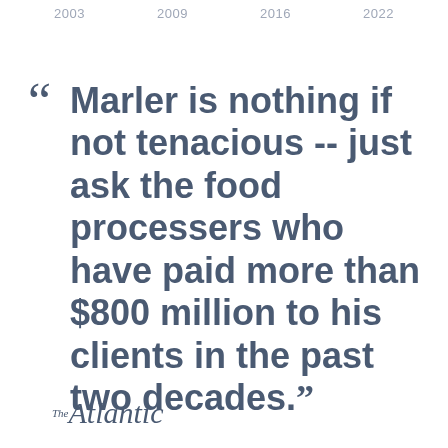2003   2009   2016   2022
“Marler is nothing if not tenacious -- just ask the food processers who have paid more than $800 million to his clients in the past two decades.”
[Figure (logo): The Atlantic magazine logo in italic serif font]